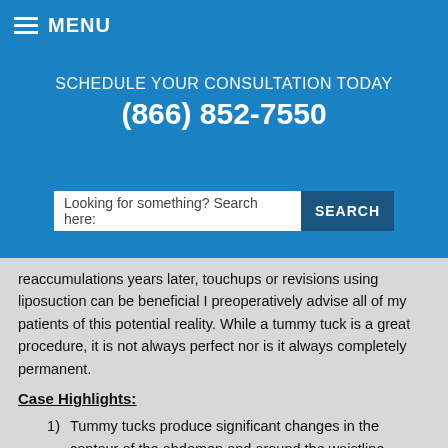≡ MENU
SCHEDULE YOUR CONSULTATION TODAY
(866) 852-7550
Looking for something? Search here:   SEARCH
reaccumulations years later, touchups or revisions using liposuction can be beneficial I preoperatively advise all of my patients of this potential reality. While a tummy tuck is a great procedure, it is not always perfect nor is it always completely permanent.
Case Highlights:
1) Tummy tucks produce significant changes in the contour of the abdomen and around the waistline. Having a completely flat abdomen, particularly the upper part, may not always be possible given the